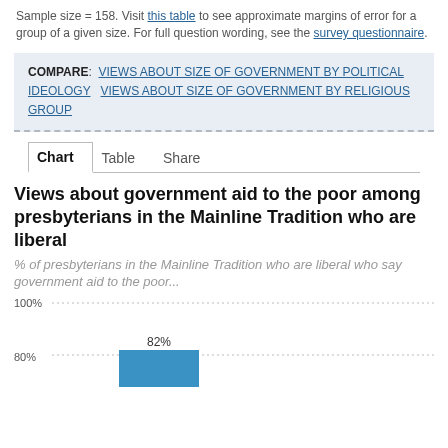Sample size = 158. Visit this table to see approximate margins of error for a group of a given size. For full question wording, see the survey questionnaire.
COMPARE: VIEWS ABOUT SIZE OF GOVERNMENT BY POLITICAL IDEOLOGY  VIEWS ABOUT SIZE OF GOVERNMENT BY RELIGIOUS GROUP
Chart  Table  Share
Views about government aid to the poor among presbyterians in the Mainline Tradition who are liberal
% of presbyterians in the Mainline Tradition who are liberal who say government aid to the poor...
[Figure (bar-chart): Views about government aid to the poor among presbyterians in the Mainline Tradition who are liberal]